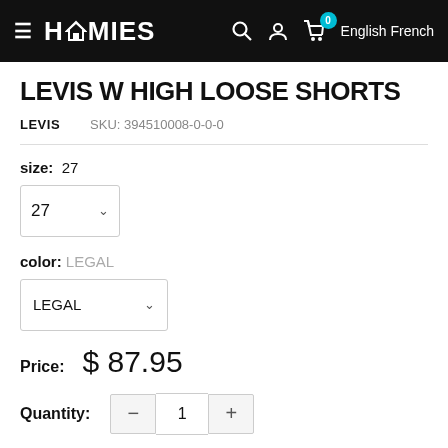HOMIES  0  English French
LEVIS W HIGH LOOSE SHORTS
LEVIS   SKU: 394510008-0-0-0
size: 27
color: LEGAL
Price: $ 87.95
Quantity: - 1 +